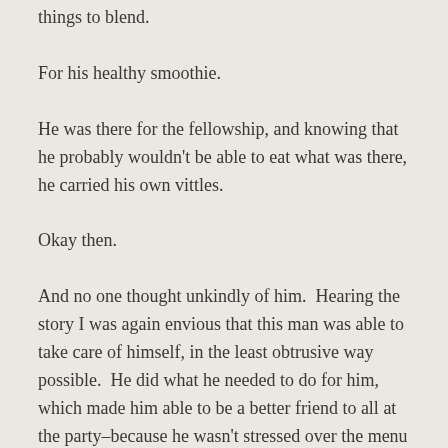things to blend.
For his healthy smoothie.
He was there for the fellowship, and knowing that he probably wouldn't be able to eat what was there, he carried his own vittles.
Okay then.
And no one thought unkindly of him.  Hearing the story I was again envious that this man was able to take care of himself, in the least obtrusive way possible.  He did what he needed to do for him, which made him able to be a better friend to all at the party–because he wasn't stressed over the menu and what he could or could not eat.
My sister was a better parent, I'd daresay, after she was